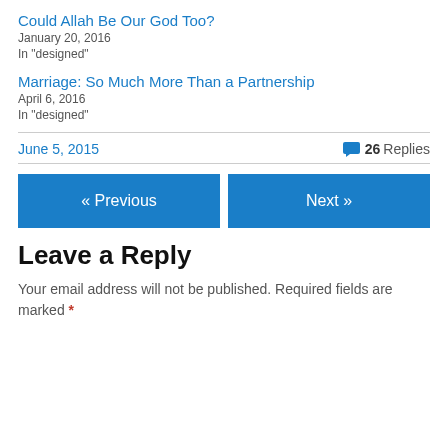Could Allah Be Our God Too?
January 20, 2016
In "designed"
Marriage: So Much More Than a Partnership
April 6, 2016
In "designed"
June 5, 2015
26 Replies
« Previous
Next »
Leave a Reply
Your email address will not be published. Required fields are marked *